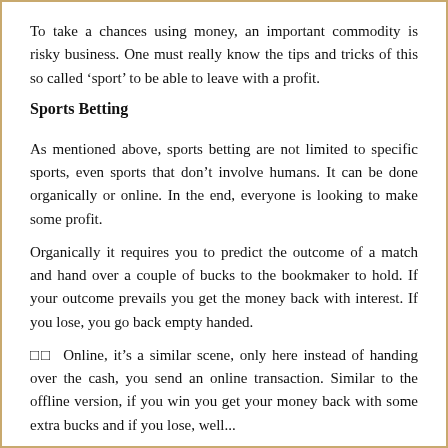To take a chances using money, an important commodity is risky business. One must really know the tips and tricks of this so called ‘sport’ to be able to leave with a profit.
Sports Betting
As mentioned above, sports betting are not limited to specific sports, even sports that don’t involve humans. It can be done organically or online. In the end, everyone is looking to make some profit.
Organically it requires you to predict the outcome of a match and hand over a couple of bucks to the bookmaker to hold. If your outcome prevails you get the money back with interest. If you lose, you go back empty handed.
□□  Online, it’s a similar scene, only here instead of handing over the cash, you send an online transaction. Similar to the offline version, if you win you get your money back with some extra bucks and if you lose, well...